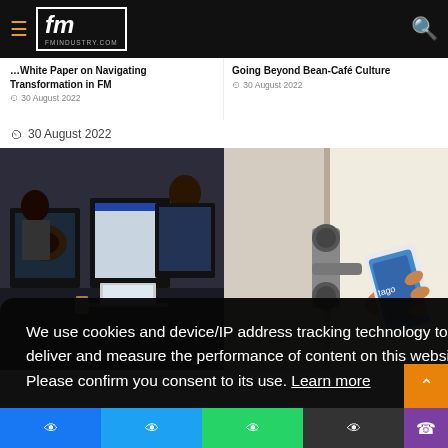fm FMINDUSTRY.COM
White Paper on Navigating Transformation in FM
Going Beyond Bean-Café Culture
30 August 2022
[Figure (photo): Office workers at computer workstations with multiple monitors]
[Figure (photo): Person holding smartphone near door handle/security lock]
ecurity
We use cookies and device/IP address tracking technology to deliver and measure the performance of content on this website. Please confirm you consent to its use. Learn more
Got it